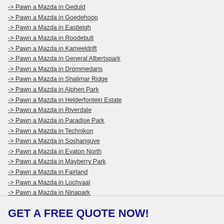-> Pawn a Mazda in Geduld
-> Pawn a Mazda in Goedehoop
-> Pawn a Mazda in Eastleigh
-> Pawn a Mazda in Roodebult
-> Pawn a Mazda in Kameeldrift
-> Pawn a Mazda in General Albertspark
-> Pawn a Mazda in Drommedaris
-> Pawn a Mazda in Shalimar Ridge
-> Pawn a Mazda in Alphen Park
-> Pawn a Mazda in Helderfontein Estate
-> Pawn a Mazda in Riverdale
-> Pawn a Mazda in Paradise Park
-> Pawn a Mazda in Technikon
-> Pawn a Mazda in Soshanguve
-> Pawn a Mazda in Evaton North
-> Pawn a Mazda in Mayberry Park
-> Pawn a Mazda in Fairland
-> Pawn a Mazda in Lochvaal
-> Pawn a Mazda in Ninapark
-> Pawn a Mazda in Riverside
-> Pawn a Mazda in Crescent Wood Country Estate
GET A FREE QUOTE NOW!